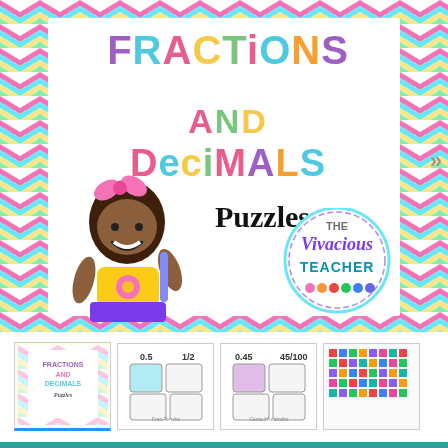[Figure (illustration): Cover image for 'Fractions and Decimals Puzzles' educational resource by The Vivacious Teacher. White center panel on a colorful chevron-patterned border showing the title in multi-colored letters, a cartoon girl, the word Puzzles in script, and the teacher branding circle logo.]
[Figure (illustration): Four small thumbnail preview images of the resource below the main image.]
FRACTIONS AND DECIMALS Puzzles